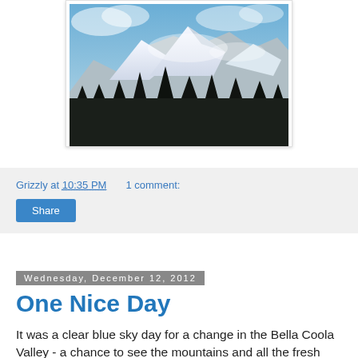[Figure (photo): Photograph of snow-capped mountains with blue sky and clouds above, dark conifer forest in the foreground. Bella Coola Valley mountain landscape.]
Grizzly at 10:35 PM    1 comment:
Share
Wednesday, December 12, 2012
One Nice Day
It was a clear blue sky day for a change in the Bella Coola Valley - a chance to see the mountains and all the fresh